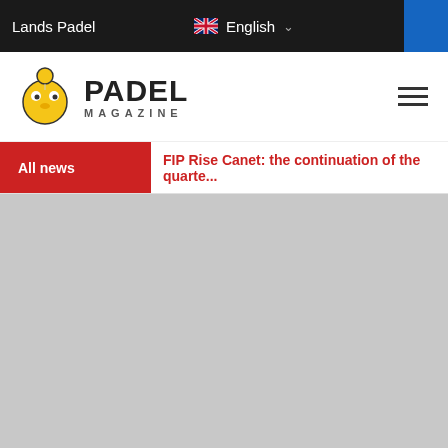Lands Padel
English
[Figure (logo): Padel Magazine logo with chick mascot icon and bold PADEL MAGAZINE text]
FIP Rise Canet: the continuation of the quarte...
[Figure (photo): Large gray placeholder image area]